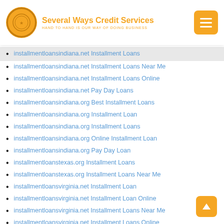Several Ways Credit Services — HAND TO HAND IS OUR WAY OF DOING BUSINESS
installmentloansindiana.net Installment Loans
installmentloansindiana.net Installment Loans Near Me
installmentloansindiana.net Installment Loans Online
installmentloansindiana.net Pay Day Loans
installmentloansindiana.org Best Installment Loans
installmentloansindiana.org Installment Loan
installmentloansindiana.org Installment Loans
installmentloansindiana.org Online Installment Loan
installmentloansindiana.org Pay Day Loan
installmentloanstexas.org Installment Loans
installmentloanstexas.org Installment Loans Near Me
installmentloansvirginia.net Installment Loan
installmentloansvirginia.net Installment Loan Online
installmentloansvirginia.net Installment Loans Near Me
installmentloansvirginia.net Installment Loans Online
installmentloansvirginia.net Online Installment Loans
installmentloansvirginia.org Installment Loans
installmentloansvirginia.org Installment Loans Near Me
installmentloansvirginia.org Installment Loans Online